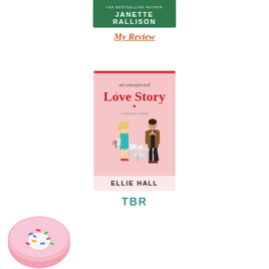[Figure (illustration): Book cover thumbnail showing green background with author name JANETTE RALLISON in white bold letters and a red bar at top]
My Review
[Figure (illustration): Book cover for 'an unexpected Love Story' by Ellie Hall - a romantic comedy. Pink background showing a blonde woman in blue dress and a man in brown jacket near an office desk.]
TBR
[Figure (illustration): Pink frosted donut with colorful sprinkles, partially visible at bottom left corner of the page]